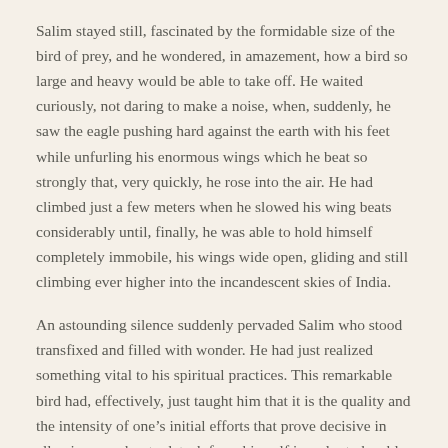Salim stayed still, fascinated by the formidable size of the bird of prey, and he wondered, in amazement, how a bird so large and heavy would be able to take off. He waited curiously, not daring to make a noise, when, suddenly, he saw the eagle pushing hard against the earth with his feet while unfurling his enormous wings which he beat so strongly that, very quickly, he rose into the air. He had climbed just a few meters when he slowed his wing beats considerably until, finally, he was able to hold himself completely immobile, his wings wide open, gliding and still climbing ever higher into the incandescent skies of India.
An astounding silence suddenly pervaded Salim who stood transfixed and filled with wonder. He had just realized something vital to his spiritual practices. This remarkable bird had, effectively, just taught him that it is the quality and the intensity of one’s initial efforts that prove decisive in allowing a seeker to detach from himself in order to be able to ascend to higher and higher states in the sky of his being. He needs to learn the delicate art of knowing when and how to relinquish his effort in order to be able to, so to speak, “glide” like an eagle.
from The Price of a Remarkable Destiny (Edward Salim Michael’s